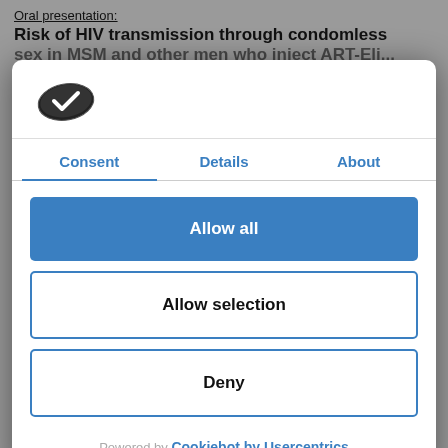Oral presentation:
Risk of HIV transmission through condomless
[Figure (logo): Cookiebot cookie icon logo — dark oval cookie shape with checkmark]
Consent	Details	About
Allow all
Allow selection
Deny
Powered by Cookiebot by Usercentrics
populations across Europe; Hows et al.
POSTER